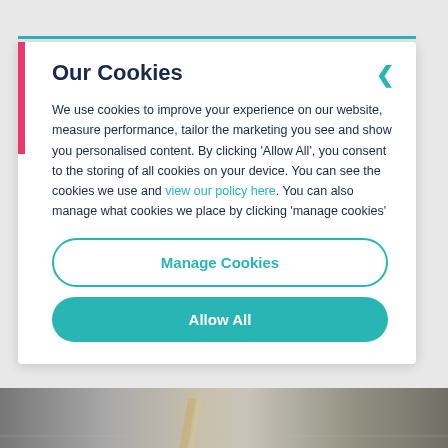Our Cookies
We use cookies to improve your experience on our website, measure performance, tailor the marketing you see and show you personalised content. By clicking ‘Allow All’, you consent to the storing of all cookies on your device. You can see the cookies we use and view our policy here. You can also manage what cookies we place by clicking ‘manage cookies’
Manage Cookies
Allow All
[Figure (photo): Bottom portion of a photo showing a room interior with a wooden beam or board on a light floor]